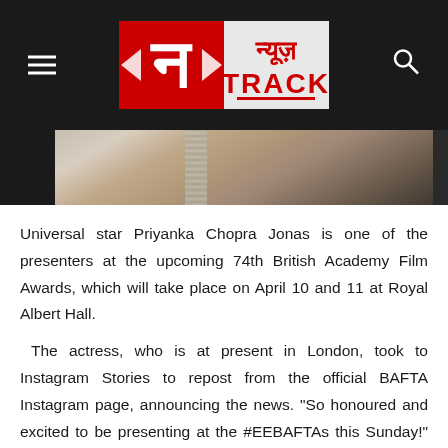News Track
[Figure (photo): Partial photo of a woman with dark hair in an updo, wearing a sequined/strappy dress, cropped at the shoulders]
Universal star Priyanka Chopra Jonas is one of the presenters at the upcoming 74th British Academy Film Awards, which will take place on April 10 and 11 at Royal Albert Hall.
The actress, who is at present in London, took to Instagram Stories to repost from the official BAFTA Instagram page, announcing the news. "So honoured and excited to be presenting at the #EEBAFTAs this Sunday!" she wrote. She will be presenting, EE BAFTA